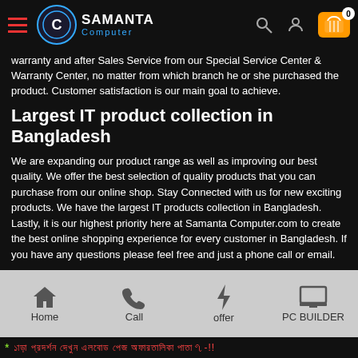Samanta Computer — navigation header with logo, search, user, and cart icons
warranty and after Sales Service from our Special Service Center & Warranty Center, no matter from which branch he or she purchased the product. Customer satisfaction is our main goal to achieve.
Largest IT product collection in Bangladesh
We are expanding our product range as well as improving our best quality. We offer the best selection of quality products that you can purchase from our online shop. Stay Connected with us for new exciting products. We have the largest IT products collection in Bangladesh. Lastly, it is our highest priority here at Samanta Computer.com to create the best online shopping experience for every customer in Bangladesh. If you have any questions please feel free and just a phone call or email.
Best Laptop Shop in Bangladesh
Most of the top brands have our Samanta like Apple, Microsoft, Asus,
Home | Call | offer | PC BUILDER